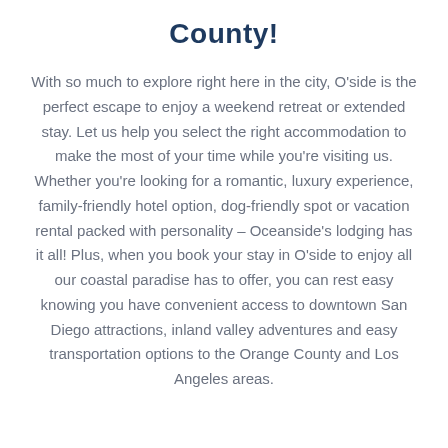County!
With so much to explore right here in the city, O'side is the perfect escape to enjoy a weekend retreat or extended stay. Let us help you select the right accommodation to make the most of your time while you're visiting us. Whether you're looking for a romantic, luxury experience, family-friendly hotel option, dog-friendly spot or vacation rental packed with personality – Oceanside's lodging has it all! Plus, when you book your stay in O'side to enjoy all our coastal paradise has to offer, you can rest easy knowing you have convenient access to downtown San Diego attractions, inland valley adventures and easy transportation options to the Orange County and Los Angeles areas.